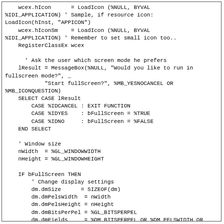wcex.hIcon      = LoadIcon (%NULL, BYVAL
%IDI_APPLICATION) ' Sample, if resource icon:
LoadIcon(hInst, "APPICON")
    wcex.hIconSm    = LoadIcon (%NULL, BYVAL
%IDI_APPLICATION) ' Remember to set small icon too..
    RegisterClassEx wcex

      ' Ask the user which screen mode he prefers
    lResult = MessageBox(%NULL, "Would you like to run in
fullscreen mode?", _
            "Start fullScreen?", %MB_YESNOCANCEL OR
%MB_ICONQUESTION)
    SELECT CASE lResult
        CASE %IDCANCEL : EXIT FUNCTION
        CASE %IDYES    : bFullScreen = %TRUE
        CASE %IDNO     : bFullScreen = %FALSE
    END SELECT

    ' Window size
    nWidth  = %GL_WINDOWWIDTH
    nHeight = %GL_WINDOWHEIGHT

    IF bFullScreen THEN
        ' Change display settings
        dm.dmSize      = SIZEOF(dm)
        dm.dmPelsWidth  = nWidth
        dm.dmPelsHeight = nHeight
        dm.dmBitsPerPel = %GL_BITSPERPEL
        dm.dmFields     = %DM_BITSPERPEL OR %DM_PELSWIDTH OR
%DM_PELSHEIGHT
        IF ChangeDisplaySettings(dm, %CDS_FULLSCREEN) = 0
THEN ShowCursor %FALSE
    END IF

    ' Window caption
    szCaption = $WindowCaption

    ' Window styles
    IF ISFALSE bFullScreen THEN
        dwStyle = %WS_OVERLAPPEDWINDOW
        dwStyleEx = %WS_EX_APPWINDOW OR %WS_EX_WINDOWEDGE
    ELS